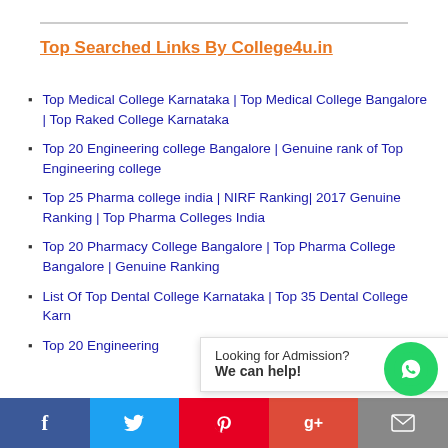Top Searched Links By College4u.in
Top Medical College Karnataka | Top Medical College Bangalore | Top Raked College Karnataka
Top 20 Engineering college Bangalore | Genuine rank of Top Engineering college
Top 25 Pharma college india | NIRF Ranking| 2017 Genuine Ranking | Top Pharma Colleges India
Top 20 Pharmacy College Bangalore | Top Pharma College Bangalore | Genuine Ranking
List Of Top Dental College Karnataka | Top 35 Dental College Karn...
Top 20 Engineering...